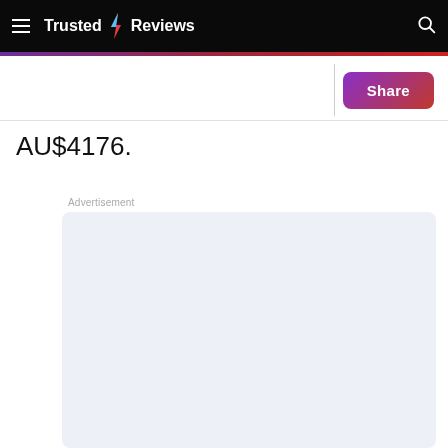Trusted Reviews
AU$4176.
Advertisement